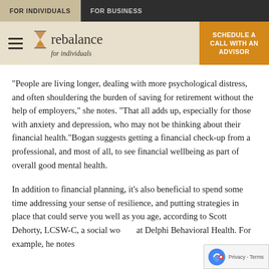FOR INDIVIDUALS | FOR BUSINESS
[Figure (logo): Rebalance for individuals logo with hourglass icon, hamburger menu, and Schedule a Call With an Advisor CTA button]
“People are living longer, dealing with more psychological distress, and often shouldering the burden of saving for retirement without the help of employers,” she notes. “That all adds up, especially for those with anxiety and depression, who may not be thinking about their financial health.”Bogan suggests getting a financial check-up from a professional, and most of all, to see financial wellbeing as part of overall good mental health.
In addition to financial planning, it’s also beneficial to spend some time addressing your sense of resilience, and putting strategies in place that could serve you well as you age, according to Scott Dehorty, LCSW-C, a social wo... at Delphi Behavioral Health. For example, he notes